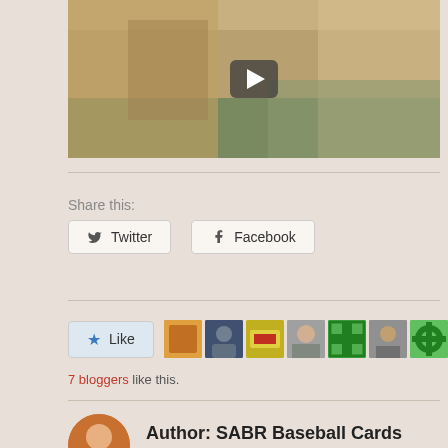[Figure (screenshot): Video thumbnail showing baseball players on a field with a play button overlay]
Share this:
Twitter  Facebook
Like
7 bloggers like this.
Author: SABR Baseball Cards Research Committee